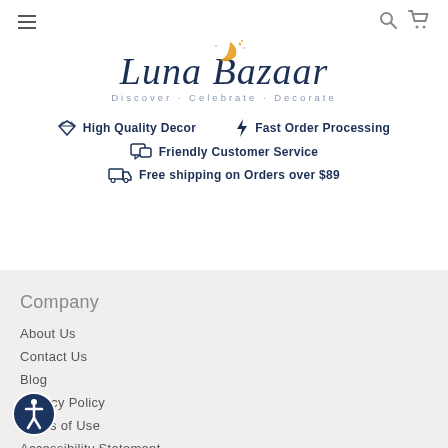[Figure (logo): Luna Bazaar logo with crescent moon, cursive text and tagline 'Discover - Celebrate - Decorate']
High Quality Decor
Fast Order Processing
Friendly Customer Service
Free shipping on Orders over $89
Company
About Us
Contact Us
Blog
Privacy Policy
Terms of Use
Accessibility Statement